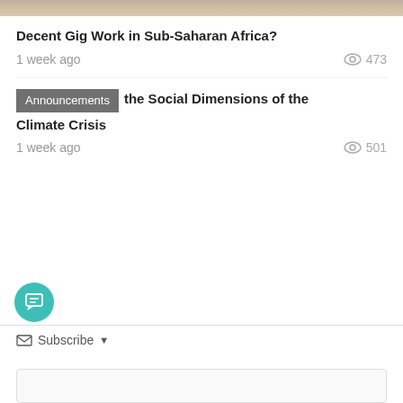[Figure (photo): Partial top image strip showing an outdoor scene]
Decent Gig Work in Sub-Saharan Africa?
1 week ago   473 views
Announcements the Social Dimensions of the Climate Crisis
1 week ago   501 views
Subscribe
[Figure (screenshot): Search box at bottom of page]